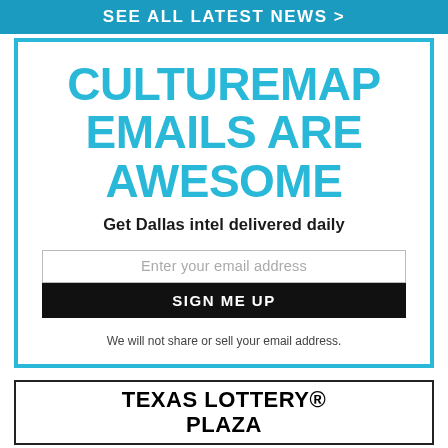SEE ALL LATEST NEWS >
[Figure (infographic): CultureMap email signup widget with cyan border. Headline: CULTUREMAP EMAILS ARE AWESOME. Subheadline: Get Dallas intel delivered daily. Email input field with placeholder 'Enter your email address'. Black button 'SIGN ME UP'. Disclaimer: We will not share or sell your email address.]
[Figure (logo): Texas Lottery Plaza logo/advertisement box with black border. Text: TEXAS LOTTERY® PLAZA]